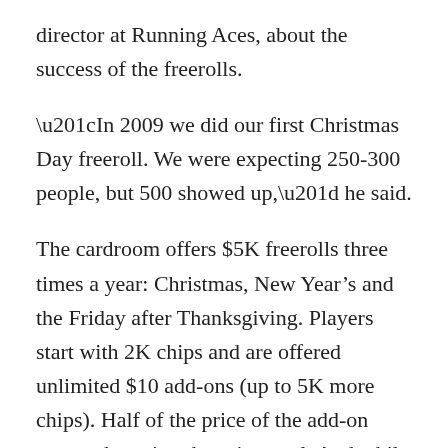director at Running Aces, about the success of the freerolls.
“In 2009 we did our first Christmas Day freeroll. We were expecting 250-300 people, but 500 showed up,” he said.
The cardroom offers $5K freerolls three times a year: Christmas, New Year’s and the Friday after Thanksgiving. Players start with 2K chips and are offered unlimited $10 add-ons (up to 5K more chips). Half of the price of the add-on goes to boosting the prize pool. And while unlimited add-ons are available, there are no rebuys, so when you’re out of chips you’re out of the tournament. The add-on period ends 30